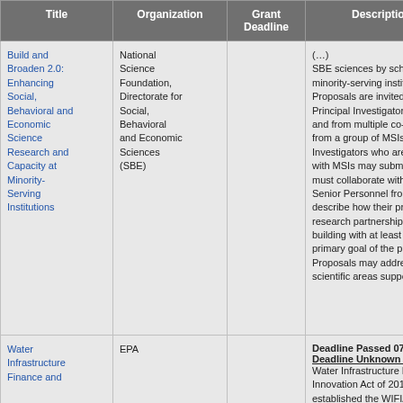| Title | Organization | Grant Deadline | Description |
| --- | --- | --- | --- |
| Build and Broaden 2.0: Enhancing Social, Behavioral and Economic Science Research and Capacity at Minority-Serving Institutions | National Science Foundation, Directorate for Social, Behavioral and Economic Sciences (SBE) |  | SBE sciences by scholars at minority-serving institutions. Proposals are invited from s Principal Investigators base and from multiple co-invest from a group of MSIs. Princ Investigators who are not a with MSIs may submit prop must collaborate with PIs, c Senior Personnel from MSI describe how their project v research partnerships or ca building with at least one M primary goal of the propose Proposals may address any scientific areas supported b |
| Water Infrastructure Finance and | EPA |  | Deadline Passed 07/31/20 Deadline Unknown for 20 Water Infrastructure Financ Innovation Act of 2014 (WIF established the WIFIA prog |